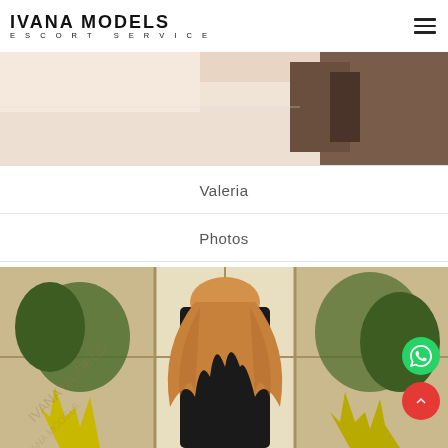IVANA MODELS ESCORT SERVICE
[Figure (photo): Partial view of a bedroom scene, cropped at top]
Valeria
Photos
[Figure (photo): Woman with long blonde hair wearing black bodysuit, seen from behind, standing in front of large window with trees outside]